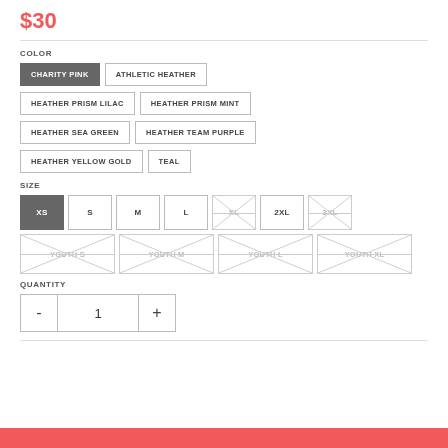$30
COLOR
CHARITY PINK (selected)
ATHLETIC HEATHER
HEATHER PRISM LILAC
HEATHER PRISM MINT
HEATHER SEA GREEN
HEATHER TEAM PURPLE
HEATHER YELLOW GOLD
TEAL
SIZE
XS (selected), S, M, L, XL (unavailable), 2XL, 3XL (unavailable), YOUTH S (unavailable), YOUTH M (unavailable), YOUTH L (unavailable), YOUTH XL (unavailable)
QUANTITY
- 1 +